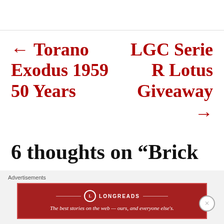← Torano Exodus 1959 50 Years
LGC Serie R Lotus Giveaway →
6 thoughts on “Brick
Advertisements
[Figure (other): Longreads advertisement banner: The best stories on the web — ours, and everyone else's.]